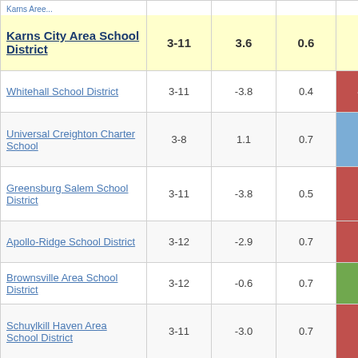| District/School | Grades | Col1 | Col2 | Score |
| --- | --- | --- | --- | --- |
| Karns City Area School District | 3-11 | 3.6 | 0.6 | 5.98 |
| Whitehall School District | 3-11 | -3.8 | 0.4 | -14.93 |
| Universal Creighton Charter School | 3-8 | 1.1 | 0.7 | 1.65 |
| Greensburg Salem School District | 3-11 | -3.8 | 0.5 | -8.11 |
| Apollo-Ridge School District | 3-12 | -2.9 | 0.7 | -4.18 |
| Brownsville Area School District | 3-12 | -0.6 | 0.7 | -0.90 |
| Schuylkill Haven Area School District | 3-11 | -3.0 | 0.7 | -4.43 |
| Scranton School District | 3-12 | -3.3 | 0.5 | -7.11 |